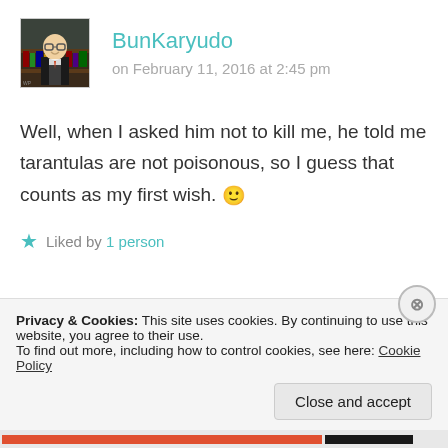[Figure (photo): Avatar/profile image of user BunKaryudo showing a person in a suit with glasses]
BunKaryudo
on February 11, 2016 at 2:45 pm
Well, when I asked him not to kill me, he told me tarantulas are not poisonous, so I guess that counts as my first wish. 🙂
★ Liked by 1 person
Privacy & Cookies: This site uses cookies. By continuing to use this website, you agree to their use. To find out more, including how to control cookies, see here: Cookie Policy
Close and accept